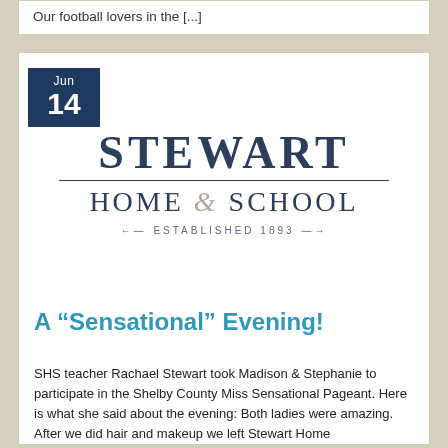Our football lovers in the [...]
[Figure (logo): Stewart Home & School logo with 'ESTABLISHED 1893' tagline]
A “Sensational” Evening!
SHS teacher Rachael Stewart took Madison & Stephanie to participate in the Shelby County Miss Sensational Pageant. Here is what she said about the evening: Both ladies were amazing. After we did hair and makeup we left Stewart Home...